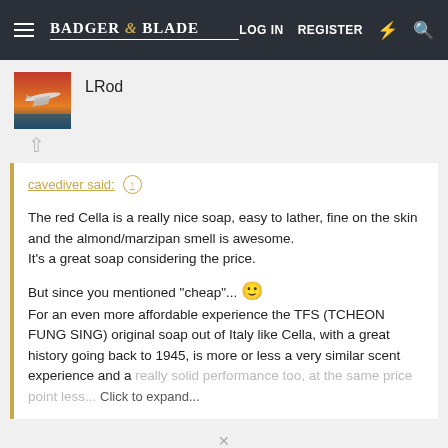Badger & Blade — LOG IN  REGISTER
[Figure (photo): User avatar showing a military jet aircraft flying over water with red sky]
LRod
cavediver said: ↑
The red Cella is a really nice soap, easy to lather, fine on the skin and the almond/marzipan smell is awesome.
It's a great soap considering the price.

But since you mentioned "cheap"... 🙂
For an even more affordable experience the TFS (TCHEON FUNG SING) original soap out of Italy like Cella, with a great history going back to 1945, is more or less a very similar scent experience and a really solid performance too, at the same price point less... Click to expand...